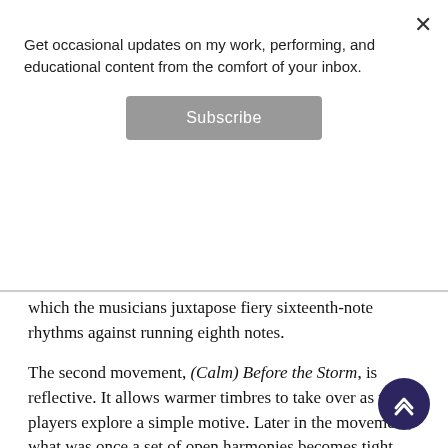Get occasional updates on my work, performing, and educational content from the comfort of your inbox.
which the musicians juxtapose fiery sixteenth-note rhythms against running eighth notes.
The second movement, (Calm) Before the Storm, is reflective. It allows warmer timbres to take over as the players explore a simple motive. Later in the movement, what was once a set of open harmonies becomes tight and dissonant, allowing the music to grow in strength as the players proceed into the upper register.
The third movement, Revolution, is tense and